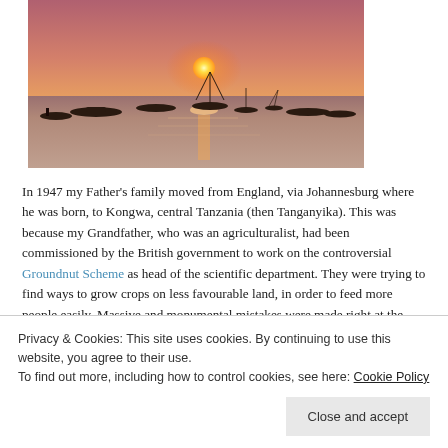[Figure (photo): Sunset over a calm ocean with boats anchored in the foreground, orange and pink sky with the sun near the horizon]
In 1947 my Father's family moved from England, via Johannesburg where he was born, to Kongwa, central Tanzania (then Tanganyika). This was because my Grandfather, who was an agriculturalist, had been commissioned by the British government to work on the controversial Groundnut Scheme as head of the scientific department. They were trying to find ways to grow crops on less favourable land, in order to feed more people easily. Massive and monumental mistakes were made right at the
Privacy & Cookies: This site uses cookies. By continuing to use this website, you agree to their use.
To find out more, including how to control cookies, see here: Cookie Policy